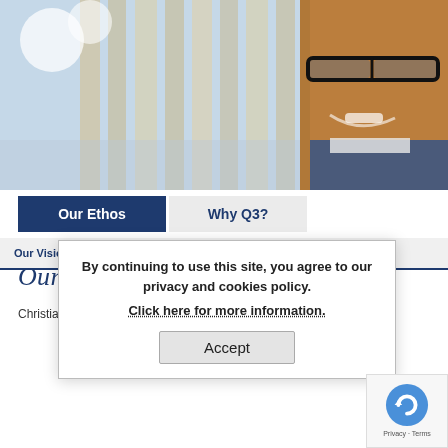[Figure (photo): A smiling student wearing glasses in a school/library setting with bookshelves in the background. Decorative circles visible on left side.]
Our Ethos
Why Q3?
Our Vision for Learning and Values
Our Ethos and Values
By continuing to use this site, you agree to our privacy and cookies policy. Click here for more information.
Accept
Christian values will underpin all Academies within The Trust.